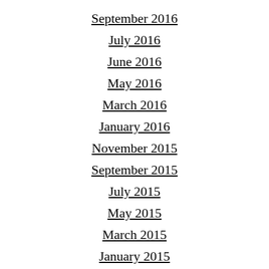September 2016
July 2016
June 2016
May 2016
March 2016
January 2016
November 2015
September 2015
July 2015
May 2015
March 2015
January 2015